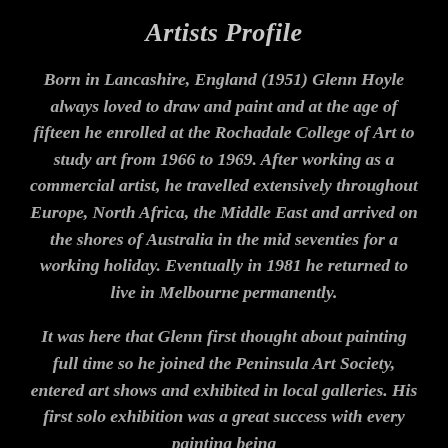Artists Profile
Born in Lancashire, England (1951) Glenn Hoyle always loved to draw and paint and at the age of fifteen he enrolled at the Rochadale College of Art to study art from 1966 to 1969. After working as a commercial artist, he travelled extensively throughout Europe, North Africa, the Middle East and arrived on the shores of Australia in the mid seventies for a working holiday. Eventually in 1981 he returned to live in Melbourne permanently.
It was here that Glenn first thought about painting full time so he joined the Peninsula Art Society, entered art shows and exhibited in local galleries. His first solo exhibition was a great success with every painting being